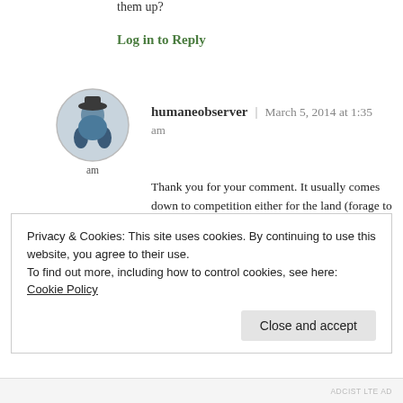them up?
Log in to Reply
[Figure (photo): Circular avatar photo of user humaneobserver, showing a person outdoors]
humaneobserver | March 5, 2014 at 1:35 am
Thank you for your comment. It usually comes down to competition either for the land (forage to feed cattle and sheep) or water. The primary competing interest for the wild horses' homes on our public land are the ranchers who graze privately owned livestock — cows and sheep — on grazing allotments they have on our public
Privacy & Cookies: This site uses cookies. By continuing to use this website, you agree to their use.
To find out more, including how to control cookies, see here: Cookie Policy
Close and accept
ADCIST LTE AD